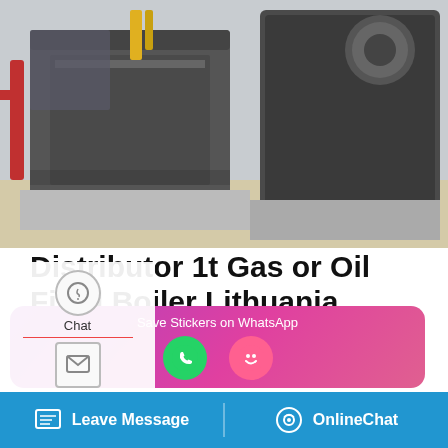[Figure (photo): Industrial boilers installed in a facility, showing large cylindrical metal boiler units on concrete platforms with yellow piping and electrical components.]
Distributor 1t Gas or Oil Fired Boiler Lithuania
Dealer 6t Commercial Boiler Azerbaijan. biomass fired condensing boiler dealer. Related Information. 2 ton steam boiler price oil gas steam boiler Liming · A steam locomotive is a type of railway locomotive that produces its pulling power through a steam engine.These locomotives are fueled by burning combustible material usually coal
[Figure (screenshot): Save Stickers on WhatsApp promotional banner with phone and emoji icons in purple/pink gradient.]
Leave Message
OnlineChat